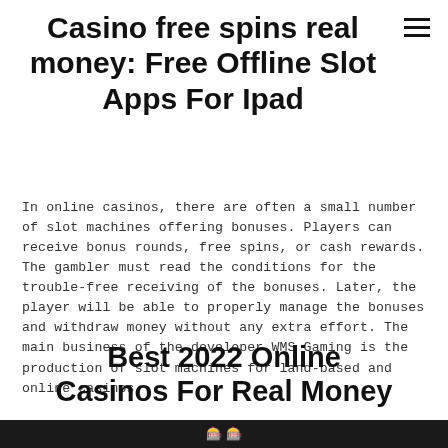Casino free spins real money: Free Offline Slot Apps For Ipad
In online casinos, there are often a small number of slot machines offering bonuses. Players can receive bonus rounds, free spins, or cash rewards. The gambler must read the conditions for the trouble-free receiving of the bonuses. Later, the player will be able to properly manage the bonuses and withdraw money without any extra effort. The main business of the developer WMS Gaming is the production of slot machines for land-based and online casinos.
Best 2022 Online Casinos For Real Money
[Figure (other): Dark banner at bottom of page with golden/amber colored logo text]